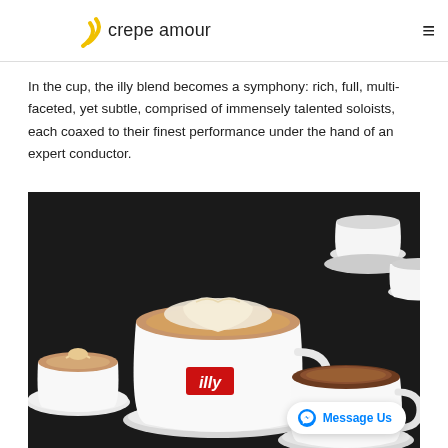crepe amour
In the cup, the illy blend becomes a symphony: rich, full, multi-faceted, yet subtle, comprised of immensely talented soloists, each coaxed to their finest performance under the hand of an expert conductor.
[Figure (photo): Multiple white illy-branded coffee cups and saucers with latte art and espresso, arranged on a dark surface. The prominent front cup shows a heart latte art design, with the red illy logo square visible on the cup. A second cup in the foreground right shows espresso.]
Message Us